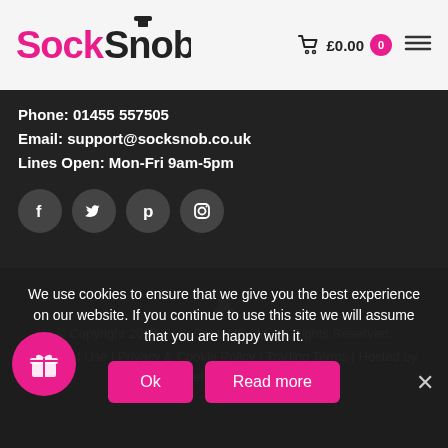[Figure (logo): SockSnob logo in pink and dark text with top hat icon]
£0.00  0
Phone: 01455 557505
Email: support@socksnob.co.uk
Lines Open: Mon-Fri 9am-5pm
[Figure (illustration): Four social media icons: Facebook, Twitter, Pinterest, Instagram]
[Figure (illustration): Small top hat icon in footer]
© Copyright 2022 Sock Snob UK Ltd. All Rights Reserved. Terms of Use | Privacy & Cookie Policy | Trading Terms | Hosted by Yell Business
We use cookies to ensure that we give you the best experience on our website. If you continue to use this site we will assume that you are happy with it.
Ok  Read more